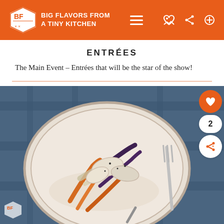BIG FLAVORS FROM A TINY KITCHEN
ENTRÉES
The Main Event – Entrées that will be the star of the show!
[Figure (photo): A rustic ceramic plate with roasted rainbow carrots, chicken, fennel, and vegetables on a blue linen cloth background, with a fork visible on the right side.]